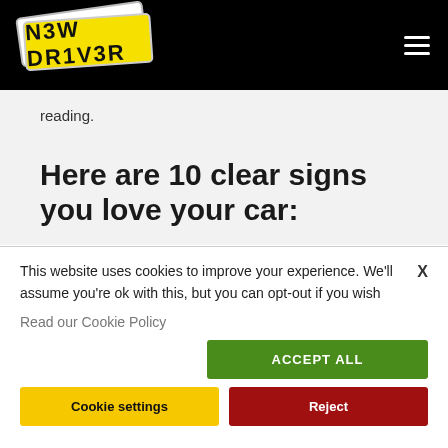[Figure (logo): N3W DR1V3R logo on a yellow number plate with white plate behind, on black header bar]
reading.
Here are 10 clear signs you love your car:
This website uses cookies to improve your experience. We'll assume you're ok with this, but you can opt-out if you wish
Read our Cookie Policy
ACCEPT ALL
Cookie settings
Reject